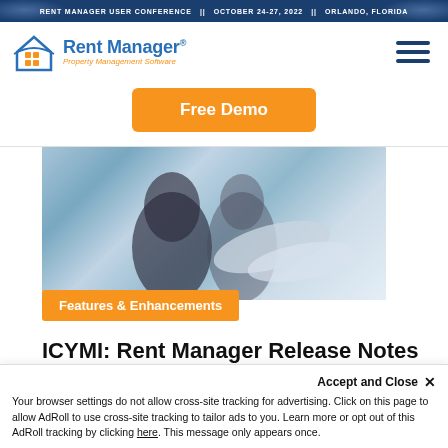RENT MANAGER USER CONFERENCE  ||  OCTOBER 24-27, 2022  ||  ORLANDO, FLORIDA
[Figure (logo): Rent Manager Property Management Software logo with house/grid icon]
Free Demo
[Figure (photo): People working at a desk or table, light blue toned photo]
Features & Enhancements
ICYMI: Rent Manager Release Notes Recap
August 24, 2022
Accept and Close ×
Your browser settings do not allow cross-site tracking for advertising. Click on this page to allow AdRoll to use cross-site tracking to tailor ads to you. Learn more or opt out of this AdRoll tracking by clicking here. This message only appears once.